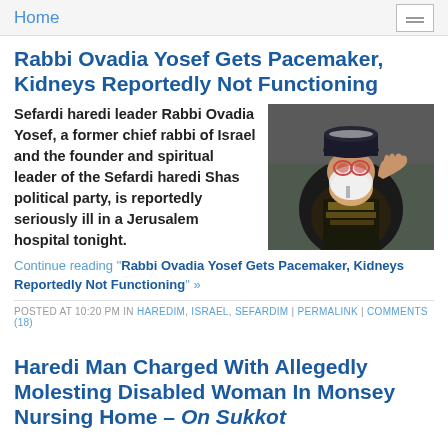Home
Rabbi Ovadia Yosef Gets Pacemaker, Kidneys Reportedly Not Functioning
Sefardi haredi leader Rabbi Ovadia Yosef, a former chief rabbi of Israel and the founder and spiritual leader of the Sefardi haredi Shas political party, is reportedly seriously ill in a Jerusalem hospital tonight.
[Figure (photo): Rabbi Ovadia Yosef in religious garments, wearing glasses and a black hat, raising his hand]
Continue reading "Rabbi Ovadia Yosef Gets Pacemaker, Kidneys Reportedly Not Functioning" »
POSTED AT 10:20 PM IN HAREDIM, ISRAEL, SEFARDIM | PERMALINK | COMMENTS (18)
Haredi Man Charged With Allegedly Molesting Disabled Woman In Monsey Nursing Home – On Sukkot